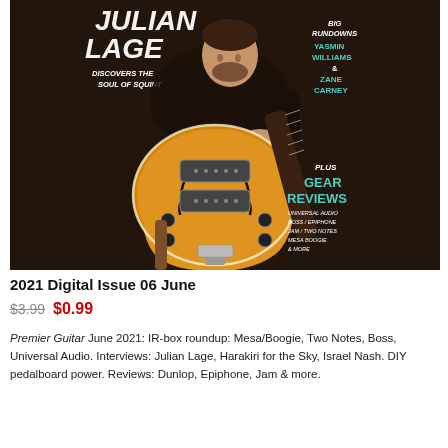[Figure (photo): Magazine cover of Premier Guitar June 2021 featuring Julian Lage holding an archtop guitar, with text: JULIAN LAGE, DISCOVERS THE SOUL OF SQUINT, BIG RUNDOWNS YASMIN WILLIAMS & ZANE CARNEY, PLUS GEAR REVIEWS, UNIVERSAL AUDIO, BOSS/EPIPHONE, JAM/TWO NOTES, MESA BOOGIE & MORE]
2021 Digital Issue 06 June
$3.99  $0.99
Premier Guitar June 2021: IR-box roundup: Mesa/Boogie, Two Notes, Boss, Universal Audio. Interviews: Julian Lage, Harakiri for the Sky, Israel Nash. DIY pedalboard power. Reviews: Dunlop, Epiphone, Jam & more.